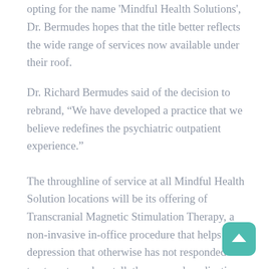opting for the name 'Mindful Health Solutions', Dr. Bermudes hopes that the title better reflects the wide range of services now available under their roof.
Dr. Richard Bermudes said of the decision to rebrand, “We have developed a practice that we believe redefines the psychiatric outpatient experience.”
The throughline of service at all Mindful Health Solution locations will be its offering of Transcranial Magnetic Stimulation Therapy, a non-invasive in-office procedure that helps with depression that otherwise has not responded to treatments such as talk therapy and medication.